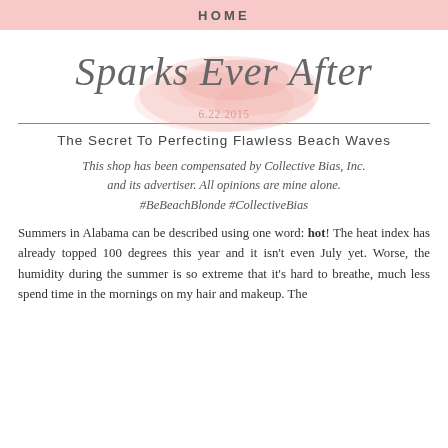HOME
[Figure (logo): Sparks Ever After blog logo with pink watercolor splash behind cursive script text]
6.22.2015
The Secret To Perfecting Flawless Beach Waves
This shop has been compensated by Collective Bias, Inc. and its advertiser. All opinions are mine alone. #BeBeachBlonde #CollectiveBias
Summers in Alabama can be described using one word: hot! The heat index has already topped 100 degrees this year and it isn't even July yet. Worse, the humidity during the summer is so extreme that it's hard to breathe, much less spend time in the mornings on my hair and makeup. The...